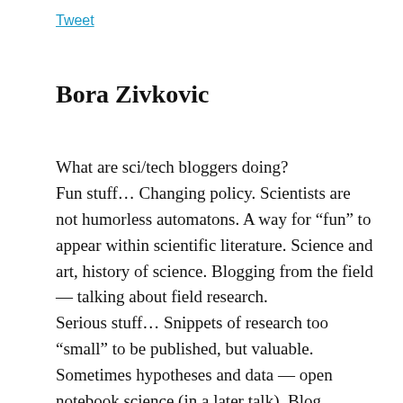Tweet
Bora Zivkovic
What are sci/tech bloggers doing?
Fun stuff… Changing policy. Scientists are not humorless automatons. A way for “fun” to appear within scientific literature. Science and art, history of science. Blogging from the field — talking about field research.
Serious stuff… Snippets of research too “small” to be published, but valuable. Sometimes hypotheses and data — open notebook science (in a later talk). Blog carnivals — ad hoc popular journalism. One editor collects posts